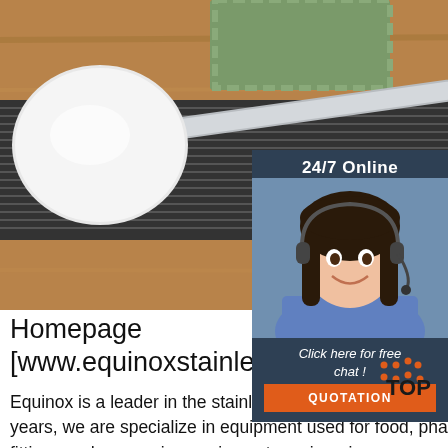[Figure (photo): Photo of stainless steel kitchen utensils (ladle and tongs/grater) on a wooden surface, with a bowl of potato and tomato in the upper right]
[Figure (photo): Sidebar with '24/7 Online' header, photo of female customer service agent with headset smiling, 'Click here for free chat!' text, and orange QUOTATION button]
Homepage [www.equinoxstainless.com]
Equinox is a leader in the stainless steel manufactured product industry. With an experience of over thirty years, we are specialize in equipment used for food, pharmaceutical and petrochemical industries, fittings and processing equipment, engineering